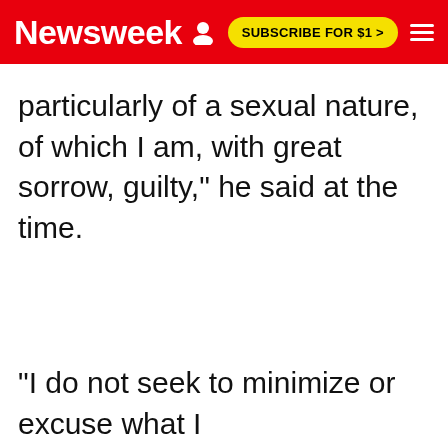Newsweek | SUBSCRIBE FOR $1 >
particularly of a sexual nature, of which I am, with great sorrow, guilty," he said at the time.
"I do not seek to minimize or excuse what I